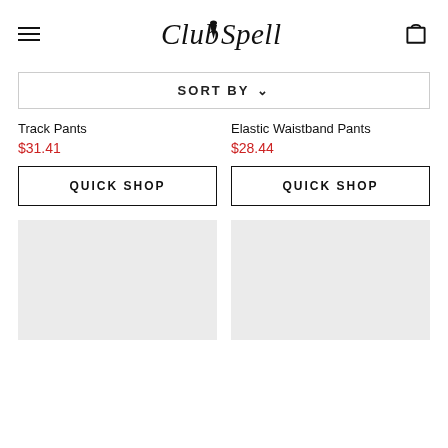Club Spell
SORT BY ∨
Track Pants
$31.41
Elastic Waistband Pants
$28.44
QUICK SHOP
QUICK SHOP
[Figure (photo): Product image placeholder (light gray rectangle)]
[Figure (photo): Product image placeholder (light gray rectangle)]